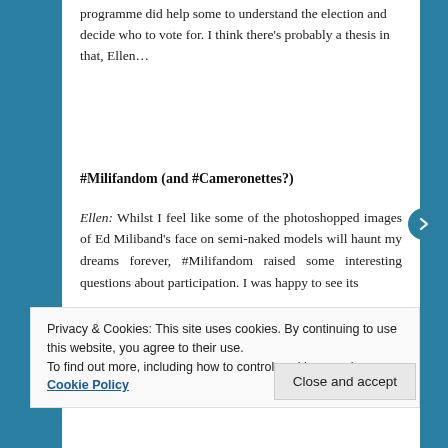programme did help some to understand the election and decide who to vote for. I think there's probably a thesis in that, Ellen…
#Milifandom (and #Cameronettes?)
Ellen: Whilst I feel like some of the photoshopped images of Ed Miliband's face on semi-naked models will haunt my dreams forever, #Milifandom raised some interesting questions about participation. I was happy to see its
Privacy & Cookies: This site uses cookies. By continuing to use this website, you agree to their use.
To find out more, including how to control cookies, see here: Cookie Policy
Close and accept